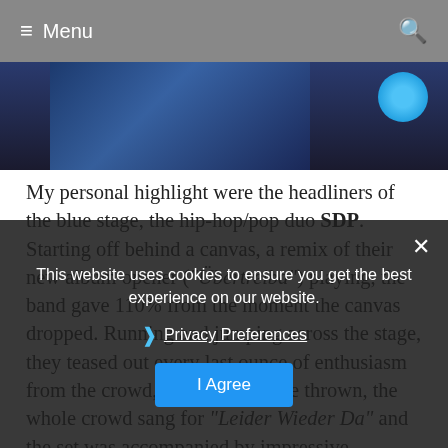≡ Menu
[Figure (photo): Partial photograph of performers on stage with dark background and a circular logo in the upper right corner]
My personal highlight were the headliners of the blue stage, the hip-hop/pop duo SDP. Starting off behind a canvas, a remix of their new album opener ("Übertreiba") playing, the band gave 110% from the moment the canvas dropped. Running and jumping across the stage, they teased out every last ounce of enthusiasm from the crowd, beach balls were thrown, the whole crowd sang for "Leider Wieder Da" and the set was accompanied by impressive fireworks. Things slowed down a couple of ballads in the second half, both singers coming
This website uses cookies to ensure you get the best experience on our website.
Privacy Preferences
I Agree